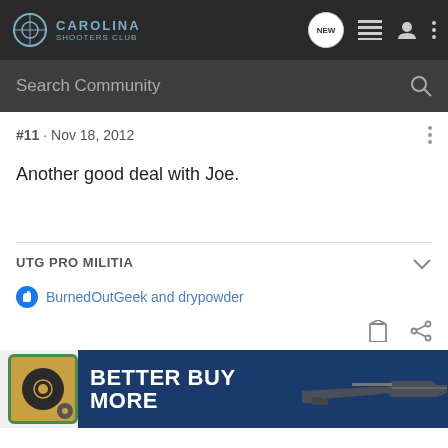CAROLINA SHOOTERS CLUB
Search Community
#11 · Nov 18, 2012
Another good deal with Joe.
UTG PRO MILITIA
BurnedOutGeek and drypowder
[Figure (screenshot): Bottom advertisement banner with text BETTER BUY MORE and a firearm image]